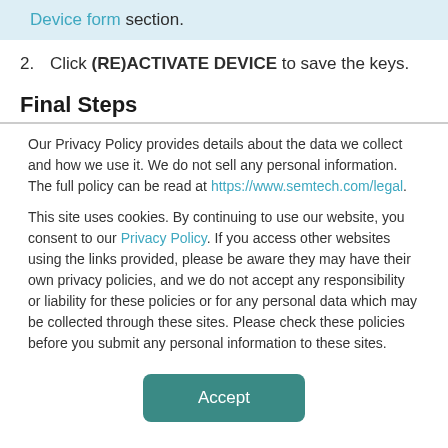Device form section.
2. Click (RE)ACTIVATE DEVICE to save the keys.
Final Steps
Our Privacy Policy provides details about the data we collect and how we use it. We do not sell any personal information. The full policy can be read at https://www.semtech.com/legal.
This site uses cookies. By continuing to use our website, you consent to our Privacy Policy. If you access other websites using the links provided, please be aware they may have their own privacy policies, and we do not accept any responsibility or liability for these policies or for any personal data which may be collected through these sites. Please check these policies before you submit any personal information to these sites.